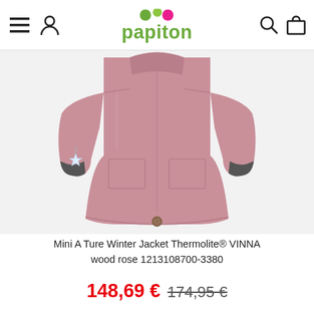papiton — navigation header with menu, user, search, cart icons
[Figure (photo): Children's pink winter jacket (Mini A Ture Winter Jacket Thermolite VINNA wood rose) shown from the back, with a white star charm hanging from the left sleeve cuff. The jacket is a dusty rose/mauve color with two lower pockets and a single button at the hem.]
Mini A Ture Winter Jacket Thermolite® VINNA wood rose 1213108700-3380
148,69 € 174,95 €